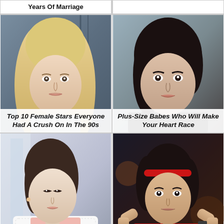Years Of Marriage
[Figure (photo): Blonde woman with long straight hair, wearing light top, dramatic background]
Top 10 Female Stars Everyone Had A Crush On In The 90s
[Figure (photo): Dark-haired woman in black top, looking at camera]
Plus-Size Babes Who Will Make Your Heart Race
[Figure (photo): Asian woman in white lace jacket over pink top, standing near window]
These Are 15 Great Style Tips From Asian Women
[Figure (photo): Young girl in fighting stance wearing red top and headband]
Nerdy Movie Kids Who Look Unrecognizable
4  SHARES